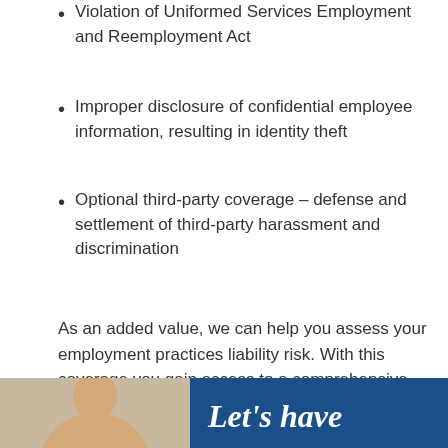Violation of Uniformed Services Employment and Reemployment Act
Improper disclosure of confidential employee information, resulting in identity theft
Optional third-party coverage – defense and settlement of third-party harassment and discrimination
As an added value, we can help you assess your employment practices liability risk. With this coverage you gain access to a comprehensive, state-specific online resource, available 24/7.
Ask one of our local, independent agents how EPLI can protect your business.
[Figure (photo): Bottom banner with a woman's photo on the left and a dark blue background on the right with italic text 'Let's have']